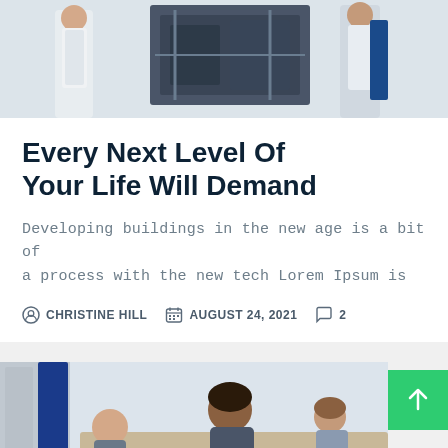[Figure (photo): People in lab coats working with an industrial machine or 3D printer in a laboratory setting]
Every Next Level Of Your Life Will Demand
Developing buildings in the new age is a bit of a process with the new tech Lorem Ipsum is
CHRISTINE HILL   AUGUST 24, 2021   2
[Figure (photo): People in an office meeting room, a man in the foreground with others around a table]